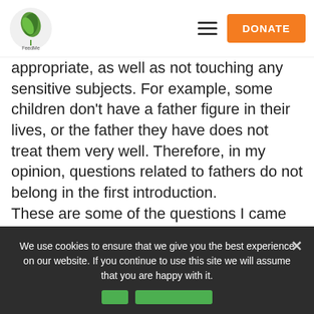Navigation bar with logo, hamburger menu, and DONATE button
appropriate, as well as not touching any sensitive subjects. For example, some children don't have a father figure in their lives, or the father they have does not treat them very well. Therefore, in my opinion, questions related to fathers do not belong in the first introduction. These are some of the questions I came up with: What is your favorite pizza; have you ever touched snow; have you ever caught a fish; do you have siblings; what are you grateful for.

Of course, everyone was a little shy; initially, I took
We use cookies to ensure that we give you the best experience on our website. If you continue to use this site we will assume that you are happy with it.